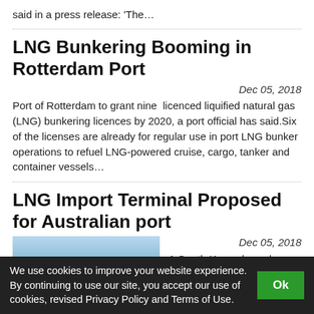said in a press release: 'The…
LNG Bunkering Booming in Rotterdam Port
Dec 05, 2018
Port of Rotterdam to grant nine  licenced liquified natural gas (LNG) bunkering licences by 2020, a port official has said.Six of the licenses are already for regular use in port LNG bunker operations to refuel LNG-powered cruise, cargo, tanker and container vessels…
LNG Import Terminal Proposed for Australian port
[Figure (photo): Photo of an LNG port or terminal with industrial structures and water, light blue sky]
Dec 05, 2018
A South Korea-based
We use cookies to improve your website experience. By continuing to use our site, you accept our use of cookies, revised Privacy Policy and Terms of Use.